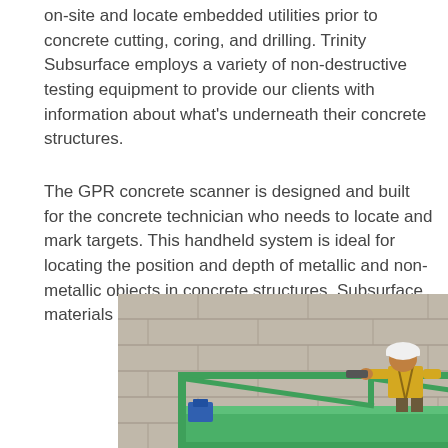on-site and locate embedded utilities prior to concrete cutting, coring, and drilling. Trinity Subsurface employs a variety of non-destructive testing equipment to provide our clients with information about what's underneath their concrete structures.
The GPR concrete scanner is designed and built for the concrete technician who needs to locate and mark targets. This handheld system is ideal for locating the position and depth of metallic and non-metallic objects in concrete structures. Subsurface materials found may include:
[Figure (photo): A construction worker in a yellow safety vest and white hard hat standing on a green aerial lift platform (scissor lift) in front of a concrete block wall, operating equipment.]